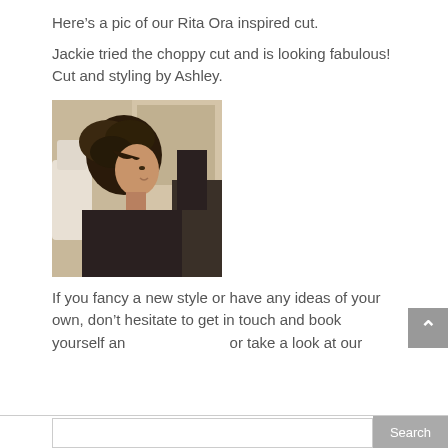Here’s a pic of our Rita Ora inspired cut.
Jackie tried the choppy cut and is looking fabulous! Cut and styling by Ashley.
[Figure (photo): A woman with a short choppy brown haircut viewed from the side, sitting in a hair salon with chairs and mirrors visible in the background.]
If you fancy a new style or have any ideas of your own, don’t hesitate to get in touch and book yourself an                or take a look at our